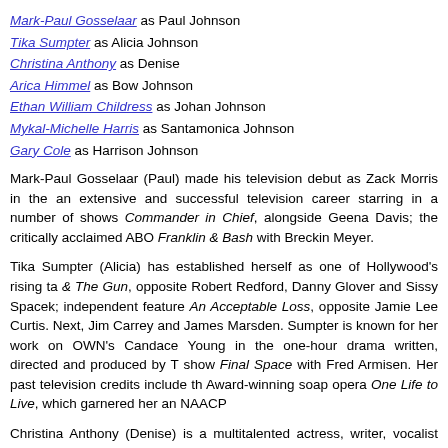Mark-Paul Gosselaar as Paul Johnson
Tika Sumpter as Alicia Johnson
Christina Anthony as Denise
Arica Himmel as Bow Johnson
Ethan William Childress as Johan Johnson
Mykal-Michelle Harris as Santamonica Johnson
Gary Cole as Harrison Johnson
Mark-Paul Gosselaar (Paul) made his television debut as Zack Morris in the an extensive and successful television career starring in a number of shows Commander in Chief, alongside Geena Davis; the critically acclaimed ABO Franklin & Bash with Breckin Meyer.
Tika Sumpter (Alicia) has established herself as one of Hollywood's rising ta & The Gun, opposite Robert Redford, Danny Glover and Sissy Spacek; independent feature An Acceptable Loss, opposite Jamie Lee Curtis. Next, Jim Carrey and James Marsden. Sumpter is known for her work on OWN's Candace Young in the one-hour drama written, directed and produced by T show Final Space with Fred Armisen. Her past television credits include th Award-winning soap opera One Life to Live, which garnered her an NAACP
Christina Anthony (Denise) is a multitalented actress, writer, vocalist and imp best known as an alum of the Second City e.t.c. Chicago, where she d thousands of shows for Chicago audiences. Her favorite on-camera roles a (Comedy Central), Bajillion Dollar Propertie$ (Seeso), Take My Wife (Seeso and The Dilemma (Universal).
Arica Himmel (Bow) was born and raised in New York City, where she m Stage Theatre). Himmel guest-starred on God Friended Me and recurred o